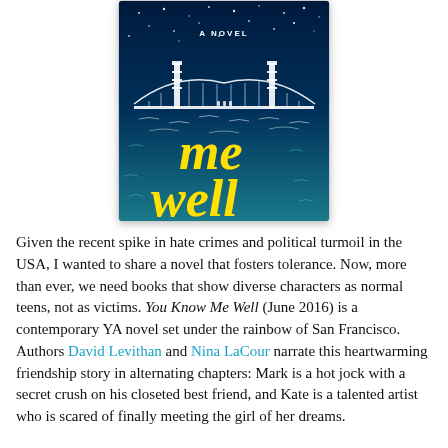[Figure (illustration): Book cover of 'You Know Me Well' — a novel. Dark blue/teal background with a white line drawing of the Golden Gate Bridge, yellow cursive text reading 'me well', small 'A NOVEL' text at top, and star-like dots in the background.]
Given the recent spike in hate crimes and political turmoil in the USA, I wanted to share a novel that fosters tolerance. Now, more than ever, we need books that show diverse characters as normal teens, not as victims. You Know Me Well (June 2016) is a contemporary YA novel set under the rainbow of San Francisco. Authors David Levithan and Nina LaCour narrate this heartwarming friendship story in alternating chapters: Mark is a hot jock with a secret crush on his closeted best friend, and Kate is a talented artist who is scared of finally meeting the girl of her dreams.
Although the subplots are romantic, the central relationship